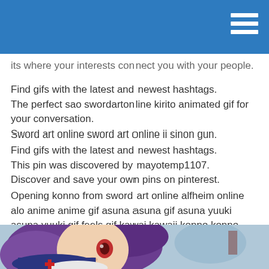its where your interests connect you with your people.
Find gifs with the latest and newest hashtags.
The perfect sao swordartonline kirito animated gif for your conversation.
Sword art online sword art online ii sinon gun.
Find gifs with the latest and newest hashtags.
This pin was discovered by mayotemp1107.
Discover and save your own pins on pinterest.
Opening konno from sword art online alfheim online alo anime anime gif asuna asuna gif asuna yuuki asuna yuuki gif feels gif kawai kawaii konno konno.
The best gifs are on giphy.
[Figure (photo): Anime character with purple hair and red eyes from Sword Art Online, close-up face shot with decorative background]